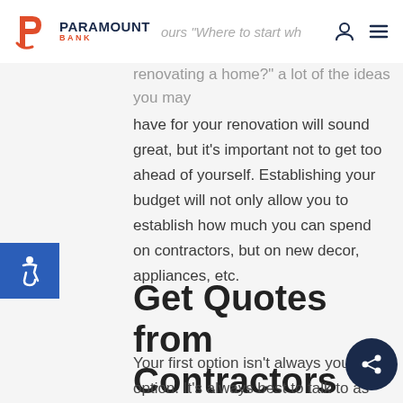Paramount Bank
ours "Where to start wh... renovating a home?" a lot of the ideas you may have for your renovation will sound great, but it's important not to get too ahead of yourself. Establishing your budget will not only allow you to establish how much you can spend on contractors, but on new decor, appliances, etc.
Get Quotes from Contractors
Your first option isn’t always your best option. It’s always best to talk to as many contractors as you can and obtain quotes from all of them. W... this, you can tell the contractor “I can’t spend a dollar more th... What can I get out of thi...